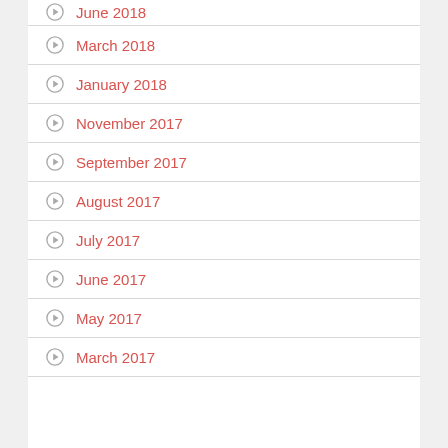June 2018
March 2018
January 2018
November 2017
September 2017
August 2017
July 2017
June 2017
May 2017
March 2017